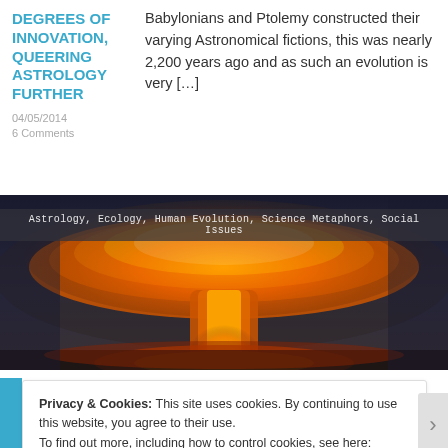DEGREES OF INNOVATION, QUEERING ASTROLOGY FURTHER
04/05/2014
6  Comments
Babylonians and Ptolemy constructed their varying Astronomical fictions, this was nearly 2,200 years ago and as such an evolution is very […]
[Figure (photo): Nuclear mushroom cloud explosion with orange and yellow glow against dark stormy sky. Tags bar overlaid with text: Astrology, Ecology, Human Evolution, Science Metaphors, Social Issues]
Privacy & Cookies: This site uses cookies. By continuing to use this website, you agree to their use.
To find out more, including how to control cookies, see here: Cookie Policy
Close and accept